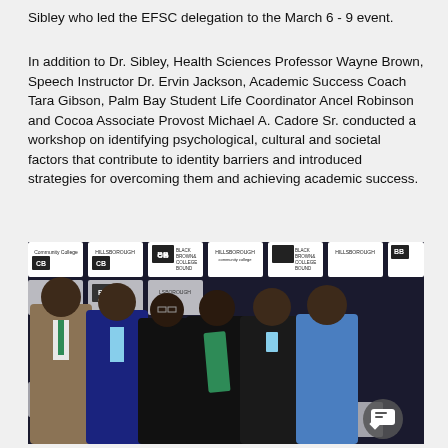Sibley who led the EFSC delegation to the March 6 - 9 event.
In addition to Dr. Sibley, Health Sciences Professor Wayne Brown, Speech Instructor Dr. Ervin Jackson, Academic Success Coach Tara Gibson, Palm Bay Student Life Coordinator Ancel Robinson and Cocoa Associate Provost Michael A. Cadore Sr. conducted a workshop on identifying psychological, cultural and societal factors that contribute to identity barriers and introduced strategies for overcoming them and achieving academic success.
[Figure (photo): Group photo of six people (EFSC delegation members) posing in front of a Black Brown and College Bound / Hillsborough Community College step-and-repeat banner backdrop.]